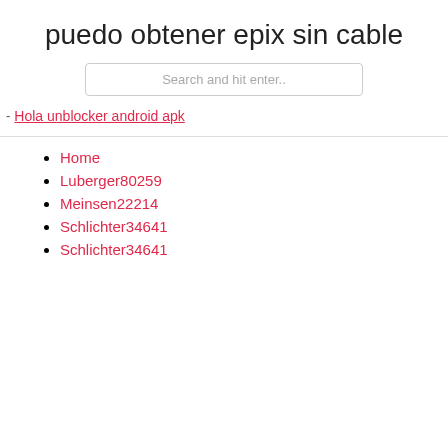puedo obtener epix sin cable
Search and hit enter..
Hola unblocker android apk
Home
Luberger80259
Meinsen22214
Schlichter34641
Schlichter34641